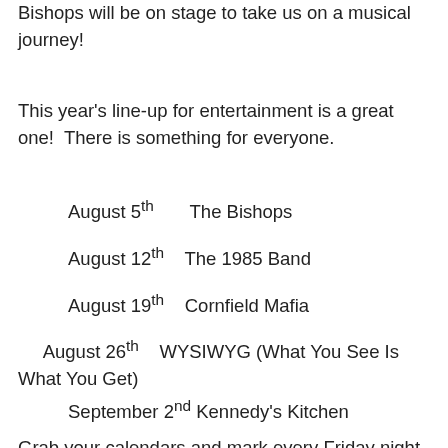Bishops will be on stage to take us on a musical journey!
This year's line-up for entertainment is a great one!  There is something for everyone.
August 5th       The Bishops
August 12th    The 1985 Band
August 19th    Cornfield Mafia
August 26th    WYSIWYG (What You See Is What You Get)
September 2nd Kennedy's Kitchen
Grab your calendars and mark every Friday night in August and the first Friday of